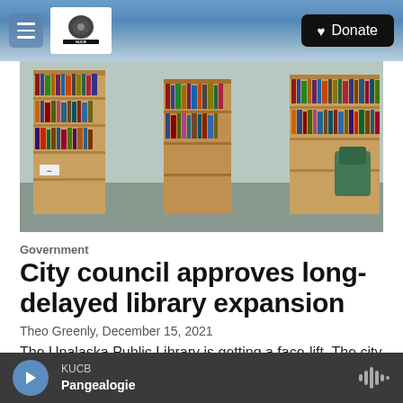KUCB Channel 8 TV | Donate
[Figure (photo): Interior of a public library showing wooden bookshelves filled with books, DVDs, and other media. Green chairs visible in background. Gray/teal carpet flooring.]
Government
City council approves long-delayed library expansion
Theo Greenly,  December 15, 2021
The Unalaska Public Library is getting a face-lift. The city council voted 4-2 at Tuesday night's
KUCB  Pangealogie